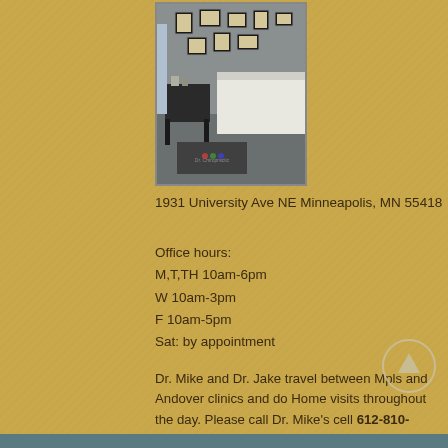[Figure (photo): Interior photo of a chiropractic office reception area with framed certificates on the wall, a counter, and a branded floor mat]
1931 University Ave NE Minneapolis, MN 55418
Office hours:
M,T,TH 10am-6pm
W 10am-3pm
F 10am-5pm
Sat: by appointment
Dr. Mike and Dr. Jake travel between Mpls and Andover clinics and do Home visits throughout the day. Please call Dr. Mike's cell 612-810-5151 if you need to schedule an after hour visit or if you're unable to reach the office during office hours.